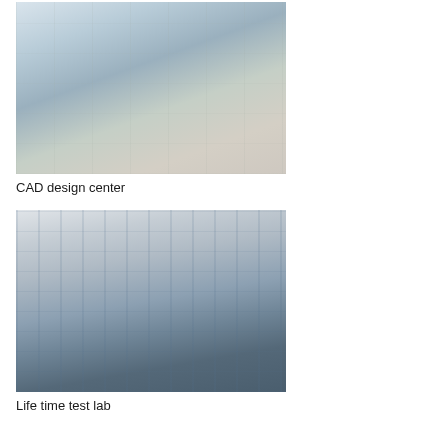[Figure (photo): CAD design center showing an open-plan office with multiple employees working at computer workstations with large monitors displaying CAD/ship design software. Cubicle-style desks with files and binders visible.]
CAD design center
[Figure (photo): Life time test lab showing a room with blue and white industrial testing equipment and machinery, including various mechanical testing rigs and a computer workstation setup with monitors.]
Life time test lab